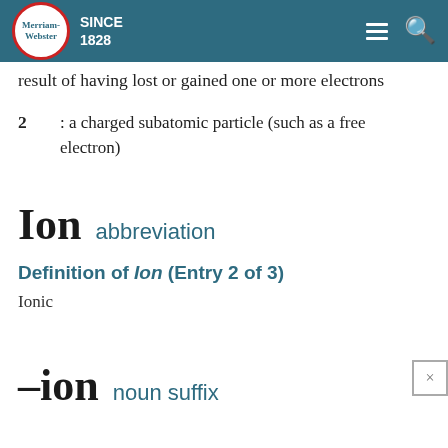Merriam-Webster SINCE 1828
result of having lost or gained one or more electrons
2 : a charged subatomic particle (such as a free electron)
Ion  abbreviation
Definition of Ion (Entry 2 of 3)
Ionic
-ion  noun suffix